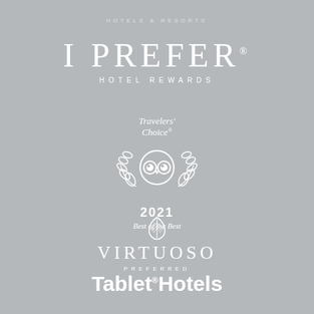[Figure (logo): Hotels & Resorts text logo in small spaced capitals, white]
[Figure (logo): I PREFER HOTEL REWARDS logo in white serif lettering]
[Figure (logo): TripAdvisor Travelers' Choice 2021 Best of the Best award logo in white]
[Figure (logo): Virtuoso Preferred logo with leaf emblem in white]
[Figure (logo): Tablet Hotels logo in white bold sans-serif]